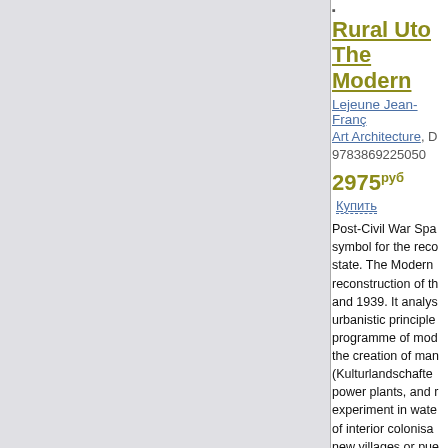•
Rural Utopia
The Modern
Lejeune Jean-Franc
Art Architecture, D
9783869225050
2975руб  Купить
Post-Civil War Spa symbol for the reco state. The Modern reconstruction of th and 1939. It analys urbanistic principle programme of mod the creation of man (Kulturlandschafte power plants, and r experiment in wate of interior colonisa new villages or pue utopia' centred on a between tradition a civil life under the 1950s? -?1960s, a including Jose Luis Sota, and Antonio pueblos as platform